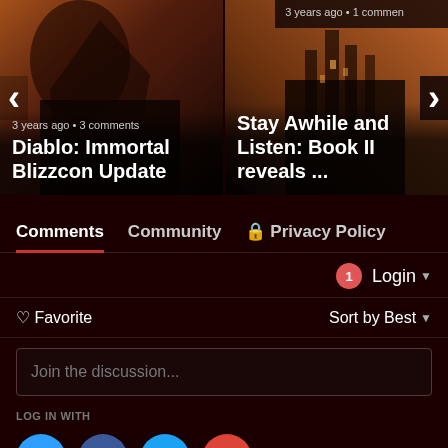[Figure (screenshot): Carousel showing two article cards. Left card: dark fantasy artwork with text '3 years ago • 3 comments' and title 'Diablo: Immortal Blizzcon Update'. Right card: fantasy castle artwork with text '3 years ago • 1 comment' and title 'Stay Awhile and Listen: Book II reveals ...'. Left and right navigation arrows visible.]
Comments
Community
🔒 Privacy Policy
1  Login ▾
♡ Favorite
Sort by Best ▾
Join the discussion...
LOG IN WITH
OR SIGN UP WITH DISQUS ?